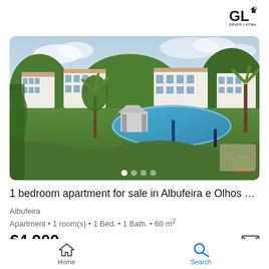[Figure (logo): GL Grupo Latina real estate logo with GL letters and small house/map-pin icon]
[Figure (photo): Exterior photo of a white Mediterranean-style apartment complex with palm trees, swimming pool, and lush green lawns]
1 bedroom apartment for sale in Albufeira e Olhos de Ág...
Albufeira
Apartment • 1 room(s) • 1 Bed. • 1 Bath. • 60 m²
€4,900
Home   Search